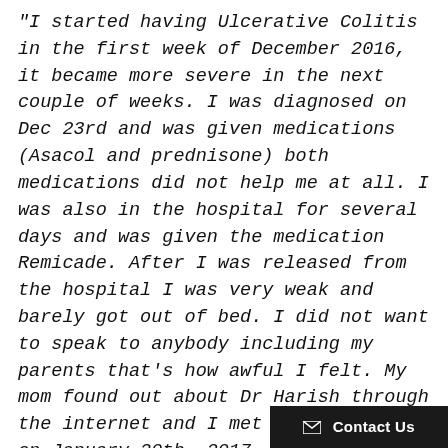“I started having Ulcerative Colitis in the first week of December 2016, it became more severe in the next couple of weeks. I was diagnosed on Dec 23rd and was given medications (Asacol and prednisone) both medications did not help me at all. I was also in the hospital for several days and was given the medication Remicade. After I was released from the hospital I was very weak and barely got out of bed. I did not want to speak to anybody including my parents that’s how awful I felt. My mom found out about Dr Harish through the internet and I met with Dr Harish on January 20th, 2017. Within 15 days of taking his medication I went into remission. I started to gain my strength back and within no time felt right back to normal. I still take his medication daily and to this day (May 30th, 2017) I’ve never had any flare ups (knock on wo...